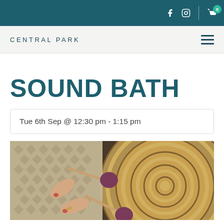Central Park — top navigation bar with social icons (Facebook, Instagram) and cart (0)
CENTRAL PARK
SOUND BATH
Tue 6th Sep @ 12:30 pm - 1:15 pm
[Figure (photo): Person holding two purple-headed mallets playing a large gong with concentric circle pattern]